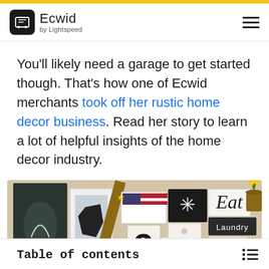Ecwid by Lightspeed
You'll likely need a garage to get started though. That's how one of Ecwid merchants took off her rustic home decor business. Read her story to learn a lot of helpful insights of the home decor industry.
[Figure (photo): Two people standing in front of a wall covered with rustic farmhouse-style decorative signs including 'Eat', 'Laundry', 'Soak', 'Farmhouse', number signs, American flag art, bear silhouette, sheep, cross, and various other wooden signs. A bucket of yellow flowers is visible on the right.]
Table of contents